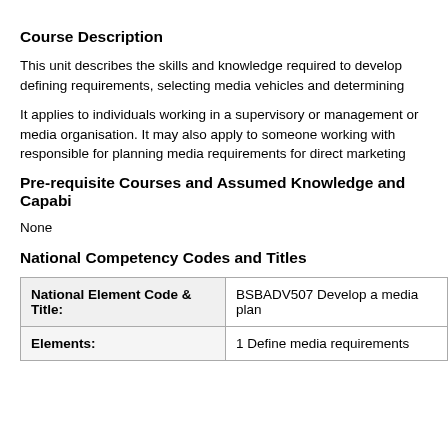Course Description
This unit describes the skills and knowledge required to develop defining requirements, selecting media vehicles and determining
It applies to individuals working in a supervisory or management or media organisation. It may also apply to someone working with responsible for planning media requirements for direct marketing
Pre-requisite Courses and Assumed Knowledge and Capabi
None
National Competency Codes and Titles
| National Element Code & Title: | BSBADV507 Develop a media plan |
| --- | --- |
| Elements: | 1 Define media requirements |